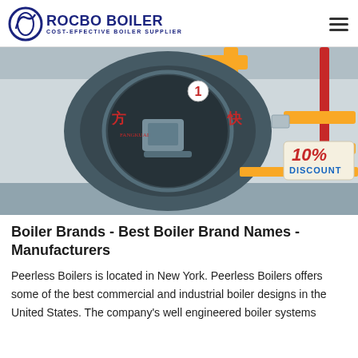ROCBO BOILER — COST-EFFECTIVE BOILER SUPPLIER
[Figure (photo): Industrial boiler unit (front face of a large cylindrical boiler) in a facility with yellow pipes and red pipes. A red circular badge with number 1 is visible. A 10% DISCOUNT badge is overlaid in the bottom right corner.]
Boiler Brands - Best Boiler Brand Names - Manufacturers
Peerless Boilers is located in New York. Peerless Boilers offers some of the best commercial and industrial boiler designs in the United States. The company's well engineered boiler systems